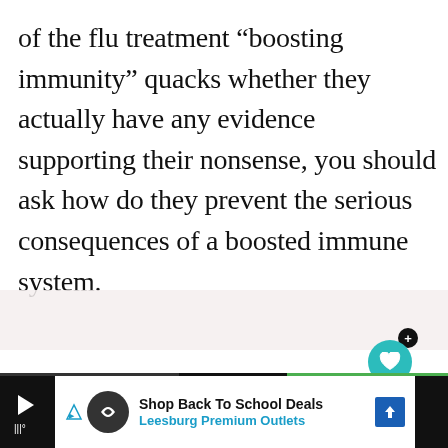of the flu treatment “boosting immunity” quacks whether they actually have any evidence supporting their nonsense, you should ask how do they prevent the serious consequences of a boosted immune system.
Don’t miss each new article!
Email Address *